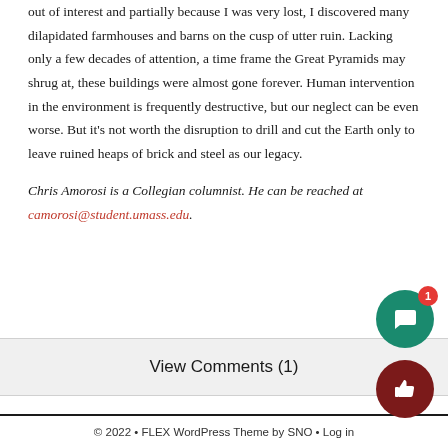out of interest and partially because I was very lost, I discovered many dilapidated farmhouses and barns on the cusp of utter ruin. Lacking only a few decades of attention, a time frame the Great Pyramids may shrug at, these buildings were almost gone forever. Human intervention in the environment is frequently destructive, but our neglect can be even worse. But it's not worth the disruption to drill and cut the Earth only to leave ruined heaps of brick and steel as our legacy.
Chris Amorosi is a Collegian columnist. He can be reached at camorosi@student.umass.edu.
View Comments (1)
© 2022 • FLEX WordPress Theme by SNO • Log in